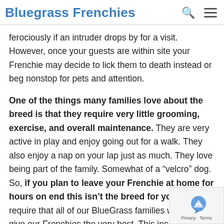Bluegrass Frenchies
ferociously if an intruder drops by for a visit. However, once your guests are within site your Frenchie may decide to lick them to death instead or beg nonstop for pets and attention.
One of the things many families love about the breed is that they require very little grooming, exercise, and overall maintenance. They are very active in play and enjoy going out for a walk. They also enjoy a nap on your lap just as much. They love being part of the family. Somewhat of a “velcro” dog. So, if you plan to leave your Frenchie at home for hours on end this isn’t the breed for you. We require that all of our BlueGrass families willing to give our Frenchies the very best. This incl time, attention and care! Naturally, we also ask that they